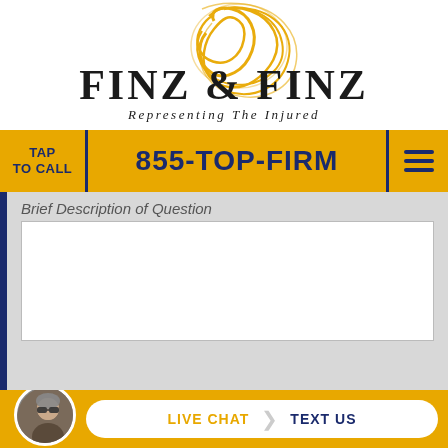[Figure (logo): Finz & Finz law firm logo with gold cursive flourish and tagline 'Representing The Injured']
TAP TO CALL
855-TOP-FIRM
Brief Description of Question
SEND TO OUR ATTORNEYS
LIVE CHAT  TEXT US